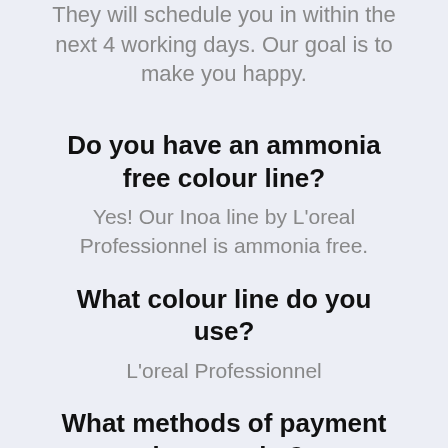They will schedule you in within the next 4 working days. Our goal is to make you happy.
Do you have an ammonia free colour line?
Yes! Our Inoa line by L'oreal Professionnel is ammonia free.
What colour line do you use?
L'oreal Professionnel
What methods of payment do you take?
We accept cash, debit, VISA, MasterCard and our Salon Monzer gift